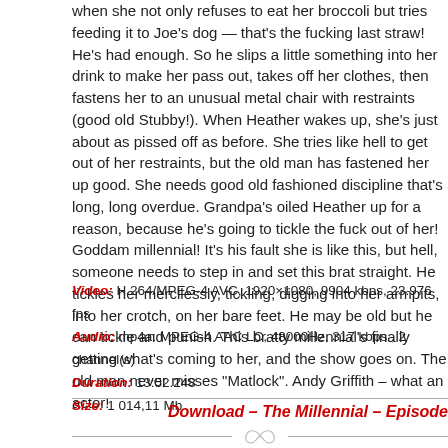when she not only refuses to eat her broccoli but tries feeding it to Joe's dog — that's the fucking last straw! He's had enough. So he slips a little something into her drink to make her pass out, takes off her clothes, then fastens her to an unusual metal chair with restraints (good old Stubby!). When Heather wakes up, she's just about as pissed off as before. She tries like hell to get out of her restraints, but the old man has fastened her up good. She needs good old fashioned discipline that's long, long overdue. Grandpa's oiled Heather up for a reason, because he's going to tickle the fuck out of her! Goddam millennial! It's his fault she is like this, but hell, someone needs to step in and set this brat straight. He tickles her mercilessly, tickling, digging into her armpits, into her crotch, on her bare feet. He may be old but he can tickle and punish. This bratty millennial's finally getting what's coming to her, and the show goes on. The old man never misses "Matlock". Andy Griffith – what an actor!
Video: H.264/MPEG-4 AVC, 1920×1080, 9904 kbps, 23.976 fps
Audio: mp4a: MPEG-4 AAC LC, 48000Hz, 317 kbps , 2 channel(s)
Duration: 13:52.248
Size: 1 014,11 Mb
Download – The Millennial – Episode